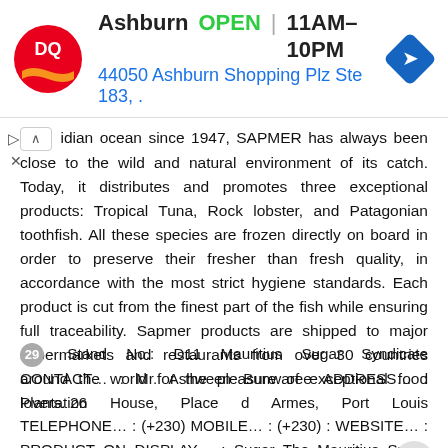[Figure (screenshot): Dairy Queen ad banner: DQ logo on left, text showing 'Ashburn OPEN 11AM–10PM' and address '44050 Ashburn Shopping Plz Ste 183,' with blue navigation diamond icon on right]
idian ocean since 1947, SAPMER has always been close to the wild and natural environment of its catch. Today, it distributes and promotes three exceptional products: Tropical Tuna, Rock lobster, and Patagonian toothfish. All these species are frozen directly on board in order to preserve their fresher than fresh quality, in accordance with the most strict hygiene standards. Each product is cut from the finest part of the fish while ensuring full traceability. Sapmer products are shipped to major supermarkets and restaurants from over 30 countries around the world for the pleasure of exceptional food lovers. 26
29 Stand No.: D11 Mauritius Sugar Syndicate CONTACT… : Mr. Ashween Bunwaree ADDRESS… : Plantation House, Place d Armes, Port Louis TELEPHONE… : (+230) MOBILE… : (+230) : WEBSITE… : PRODUCT ON DISPLAY… : Sugar The Mauritius Sugar Syndicate (MSS) is the sole sugar